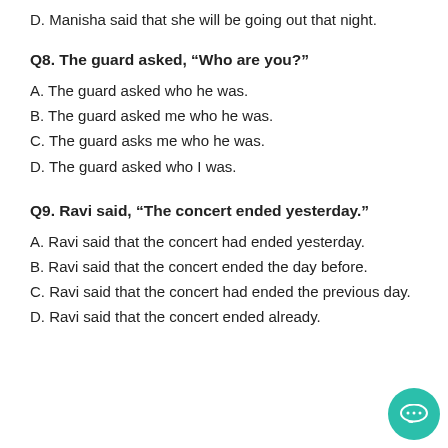D. Manisha said that she will be going out that night.
Q8. The guard asked, “Who are you?”
A. The guard asked who he was.
B. The guard asked me who he was.
C. The guard asks me who he was.
D. The guard asked who I was.
Q9. Ravi said, “The concert ended yesterday.”
A. Ravi said that the concert had ended yesterday.
B. Ravi said that the concert ended the day before.
C. Ravi said that the concert had ended the previous day.
D. Ravi said that the concert ended already.